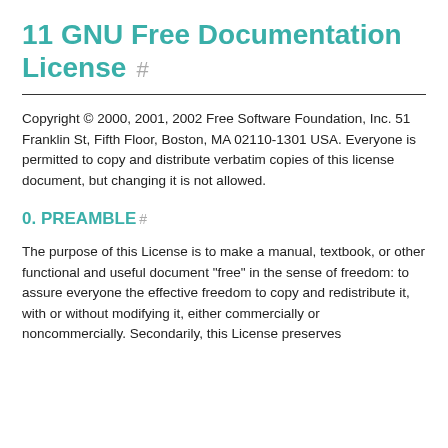11 GNU Free Documentation License #
Copyright © 2000, 2001, 2002 Free Software Foundation, Inc. 51 Franklin St, Fifth Floor, Boston, MA 02110-1301 USA. Everyone is permitted to copy and distribute verbatim copies of this license document, but changing it is not allowed.
0. PREAMBLE #
The purpose of this License is to make a manual, textbook, or other functional and useful document "free" in the sense of freedom: to assure everyone the effective freedom to copy and redistribute it, with or without modifying it, either commercially or noncommercially. Secondarily, this License preserves